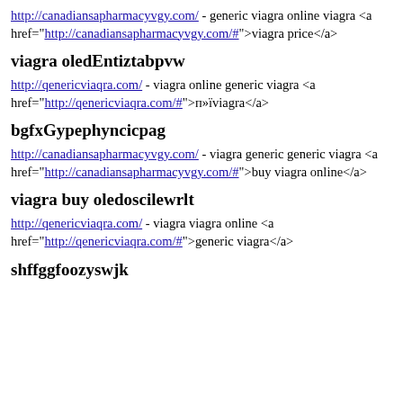http://canadiansapharmacyvgy.com/ - generic viagra online viagra <a href="http://canadiansapharmacyvgy.com/#">viagra price</a>
viagra oledEntiztabpvw
http://qenericviaqra.com/ - viagra online generic viagra <a href="http://qenericviaqra.com/#">п»їviagra</a>
bgfxGypephyncicpag
http://canadiansapharmacyvgy.com/ - viagra generic generic viagra <a href="http://canadiansapharmacyvgy.com/#">buy viagra online</a>
viagra buy oledoscilewrlt
http://qenericviaqra.com/ - viagra viagra online <a href="http://qenericviaqra.com/#">generic viagra</a>
shffggfoozyswjk